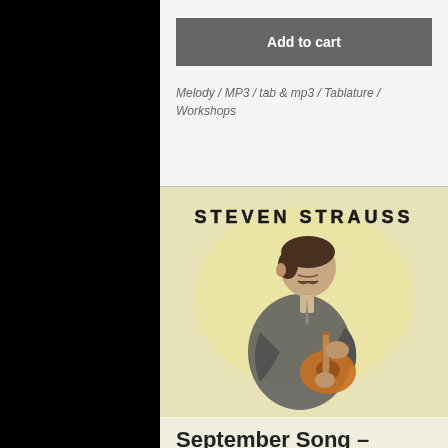Add to cart
Melody / MP3 / tab & mp3 / Tablature / Workshops
[Figure (illustration): Sketch/drawing of a man in a suit playing a small guitar or ukulele, with 'STEVEN STRAUSS' text at top in block letters. Warm sepia/yellow toned background.]
September Song – CD